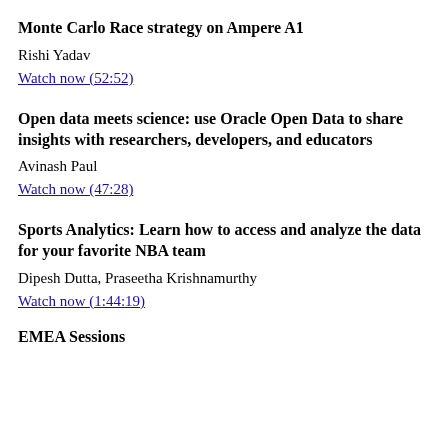Monte Carlo Race strategy on Ampere A1
Rishi Yadav
Watch now (52:52)
Open data meets science: use Oracle Open Data to share insights with researchers, developers, and educators
Avinash Paul
Watch now (47:28)
Sports Analytics: Learn how to access and analyze the data for your favorite NBA team
Dipesh Dutta, Praseetha Krishnamurthy
Watch now (1:44:19)
EMEA Sessions